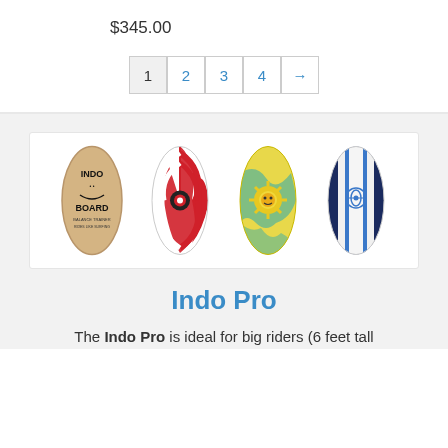$345.00
1 2 3 4 →
[Figure (photo): Four Indo Board balance boards displayed vertically side by side: natural wood with Indo Board logo, red and white swirl pattern, yellow with sun/mandala design, and navy blue with white and blue stripes.]
Indo Pro
The Indo Pro is ideal for big riders (6 feet tall